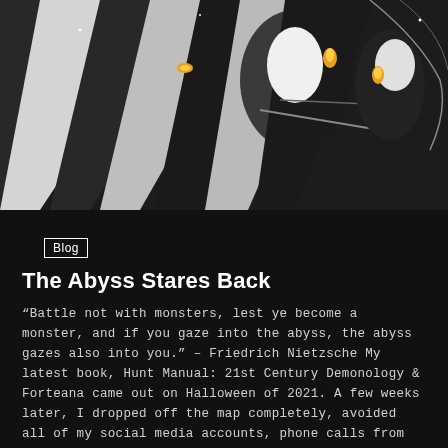[Figure (illustration): Black and white illustration showing abstract figures with diagonal stripes and orange/yellow glowing elements, dark background]
Blog
The Abyss Stares Back
“Battle not with monsters, lest ye become a monster, and if you gaze into the abyss, the abyss gazes also into you.” – Friedrich Nietzsche My latest book, Hunt Manual: 21st Century Demonology & Forteana came out on Halloween of 2021. A few weeks later, I dropped off the map completely, avoided all of my social media accounts, phone calls from fellow researchers and even some family members, and retreated […]
FEBRUARY 4, 2022  ♥  < 3